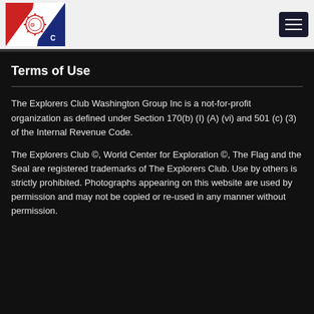[Figure (logo): Explorers Club Washington Group logo: red, white and blue diagonal flag design with gear/wheel symbol and letters E, O, C]
Navigation menu hamburger button
Terms of Use
The Explorers Club Washington Group Inc is a not-for-profit organization as defined under Section 170(b) (I) (A) (vi) and 501 (c) (3) of the Internal Revenue Code.
The Explorers Club ©, World Center for Exploration ©, The Flag and the Seal are registered trademarks of The Explorers Club. Use by others is strictly prohibited. Photographs appearing on this website are used by permission and may not be copied or re-used in any manner without permission.